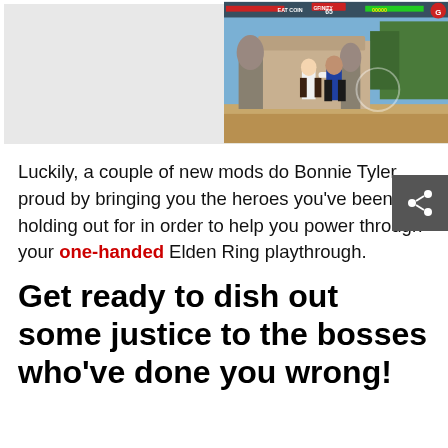[Figure (screenshot): Video game screenshot showing two fighting game characters in combat. A HUD overlay shows health bars, the text 'EAT COIN', '65', '00000', and a 'G' logo. The background shows a temple-like outdoor setting with stone statues and trees.]
Luckily, a couple of new mods do Bonnie Tyler proud by bringing you the heroes you’ve been holding out for in order to help you power through your one-handed Elden Ring playthrough.
Get ready to dish out some justice to the bosses who’ve done you wrong!